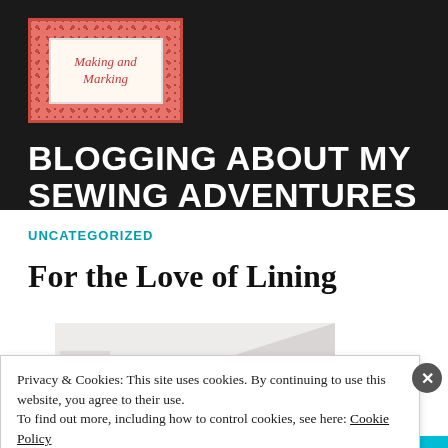[Figure (logo): Making and Marking blog logo - red/pink floral border with white center containing cursive text]
BLOGGING ABOUT MY SEWING ADVENTURES
UNCATEGORIZED
For the Love of Lining
[Figure (photo): Partial view of sewing/fabric photograph]
Privacy & Cookies: This site uses cookies. By continuing to use this website, you agree to their use.
To find out more, including how to control cookies, see here: Cookie Policy
Close and accept